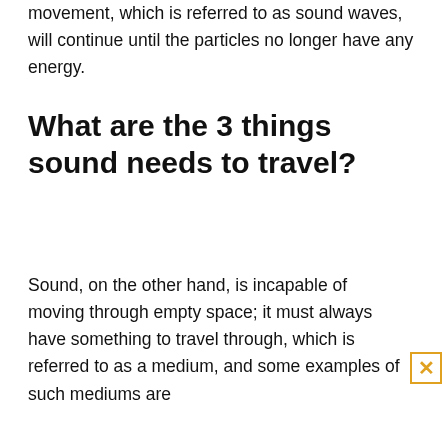movement, which is referred to as sound waves, will continue until the particles no longer have any energy.
What are the 3 things sound needs to travel?
Sound, on the other hand, is incapable of moving through empty space; it must always have something to travel through, which is referred to as a medium, and some examples of such mediums are